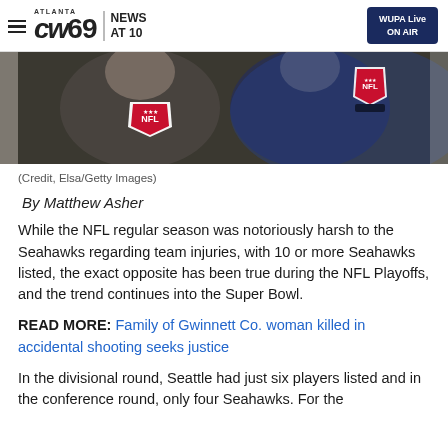ATLANTA CW69 NEWS AT 10 | WUPA Live ON AIR
[Figure (photo): Close-up photo of NFL officials or players wearing NFL shield logos, with microphones visible in the foreground and background]
(Credit, Elsa/Getty Images)
By Matthew Asher
While the NFL regular season was notoriously harsh to the Seahawks regarding team injuries, with 10 or more Seahawks listed, the exact opposite has been true during the NFL Playoffs, and the trend continues into the Super Bowl.
READ MORE: Family of Gwinnett Co. woman killed in accidental shooting seeks justice
In the divisional round, Seattle had just six players listed and in the conference round, only four Seahawks. For the